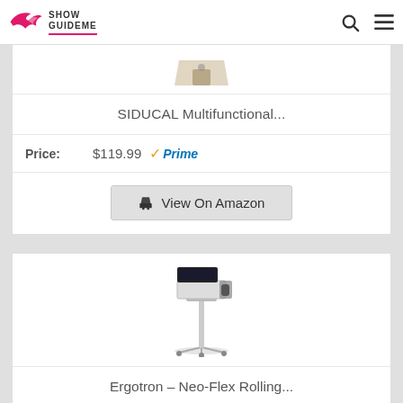Show GuideMe
[Figure (photo): Partial product image cropped at top (SIDUCAL item)]
SIDUCAL Multifunctional...
Price: $119.99 Prime
View On Amazon
[Figure (photo): Ergotron Neo-Flex Rolling laptop cart stand with casters]
Ergotron – Neo-Flex Rolling...
Price: $895.00 Prime
View On Amazon (partial)